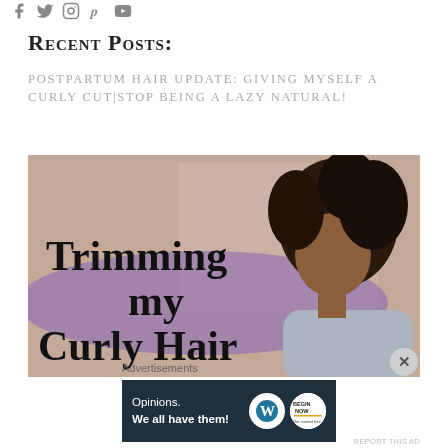Social media icons: Facebook, Twitter, Instagram, Pinterest, YouTube
Recent Posts:
POSTPARTUM HAIR UPDATE: GIVING MYSELF A CURLY CUT|STOP BEING A LAZY NATURAL!
[Figure (photo): Thumbnail image of a woman with curly natural hair, with overlay text reading 'Trimming my Curly Hair' on a purple brush-stroke background]
Advertisements
[Figure (infographic): WordPress advertisement banner with text 'Opinions. We all have them!' and WordPress and Begin Now logos on dark navy background]